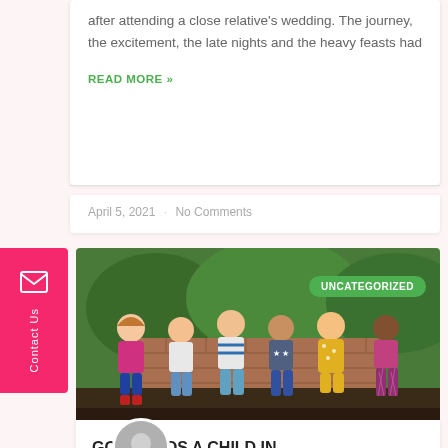after attending a close relative's wedding. The journey, the excitement, the late nights and the heavy feasts had
READ MORE »
April 5, 2021  ·  No Comments
[Figure (photo): Group of children sitting together outdoors on a wooden surface, smiling and laughing, with greenery in background. Green 'UNCATEGORIZED' badge overlay in top right.]
GOD SENDS A CHILD IN YOUR LIFE WITH A